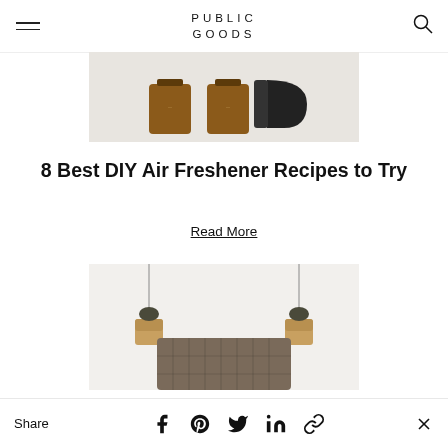PUBLIC GOODS
[Figure (photo): Amber glass jars and a black kettle on a light surface]
8 Best DIY Air Freshener Recipes to Try
Read More
[Figure (photo): Bedroom scene with tufted headboard and hanging plant holders]
Share   [facebook] [pinterest] [twitter] [linkedin] [link] X